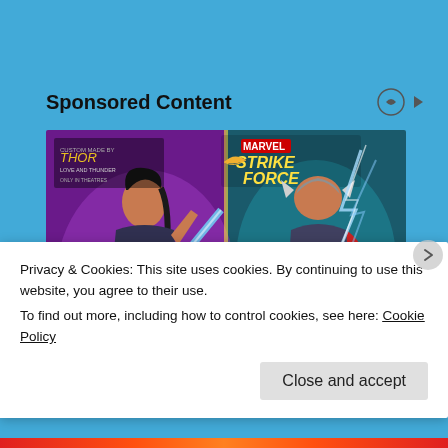Sponsored Content
[Figure (illustration): Marvel Strike Force game advertisement featuring Valkyrie and Mighty Thor characters from Thor: Love and Thunder. Left side shows Valkyrie character with a blue sword on purple background; right side shows Mighty Thor with lightning on teal background. Marvel Strike Force logo visible at top right, Thor Love and Thunder branding at top left. Character names VALKYRIE and MIGHTY THOR shown at bottom.]
Privacy & Cookies: This site uses cookies. By continuing to use this website, you agree to their use.
To find out more, including how to control cookies, see here: Cookie Policy
Close and accept